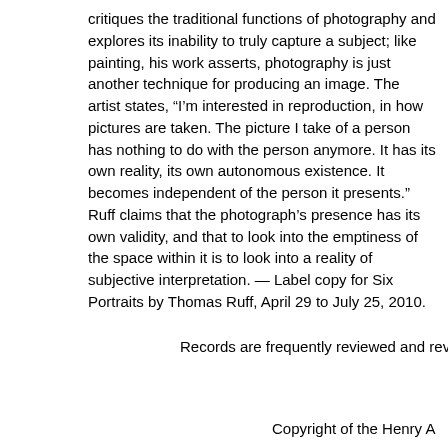critiques the traditional functions of photography and explores its inability to truly capture a subject; like painting, his work asserts, photography is just another technique for producing an image. The artist states, “I’m interested in reproduction, in how pictures are taken. The picture I take of a person has nothing to do with the person anymore. It has its own reality, its own autonomous existence. It becomes independent of the person it presents.” Ruff claims that the photograph’s presence has its own validity, and that to look into the emptiness of the space within it is to look into a reality of subjective interpretation. — Label copy for Six Portraits by Thomas Ruff, April 29 to July 25, 2010.
Records are frequently reviewed and revise
Copyright of the Henry A